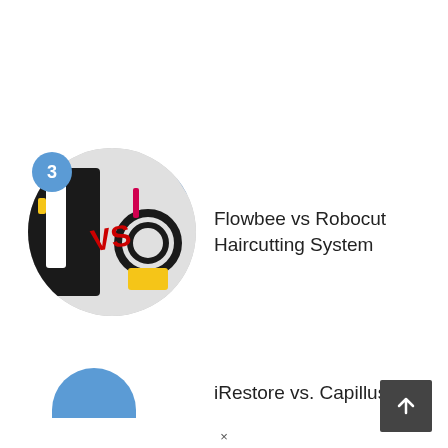[Figure (photo): Circular product comparison image showing Flowbee vs Robocut haircutting systems with 'VS' text in red, with a blue badge numbered 3 in the top-left]
Flowbee vs Robocut Haircutting System
[Figure (photo): Partial circular product image (bottom cut off) for item 4, with blue badge]
iRestore vs. Capillus vs